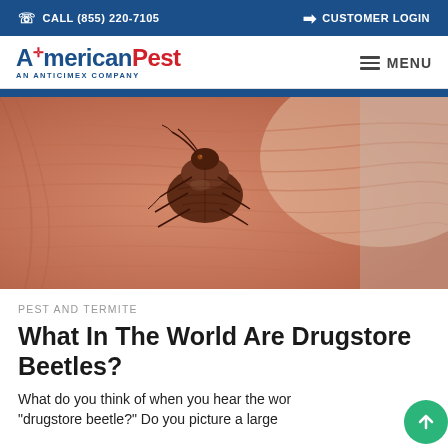CALL (855) 220-7105   CUSTOMER LOGIN
[Figure (logo): AmericanPest logo - AN ANTICIMEX COMPANY, with MENU hamburger icon]
[Figure (photo): Close-up macro photo of a small brown drugstore beetle sitting on human skin (fingertip), showing detailed texture of skin ridges and beetle anatomy]
PEST AND TERMITE
What In The World Are Drugstore Beetles?
What do you think of when you hear the word "drugstore beetle?" Do you picture a large